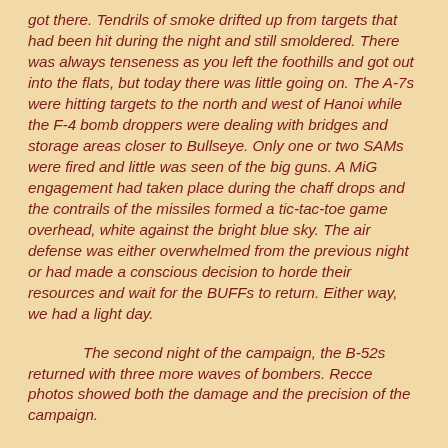got there. Tendrils of smoke drifted up from targets that had been hit during the night and still smoldered. There was always tenseness as you left the foothills and got out into the flats, but today there was little going on. The A-7s were hitting targets to the north and west of Hanoi while the F-4 bomb droppers were dealing with bridges and storage areas closer to Bullseye. Only one or two SAMs were fired and little was seen of the big guns. A MiG engagement had taken place during the chaff drops and the contrails of the missiles formed a tic-tac-toe game overhead, white against the bright blue sky. The air defense was either overwhelmed from the previous night or had made a conscious decision to horde their resources and wait for the BUFFs to return. Either way, we had a light day.
The second night of the campaign, the B-52s returned with three more waves of bombers. Recce photos showed both the damage and the precision of the campaign.